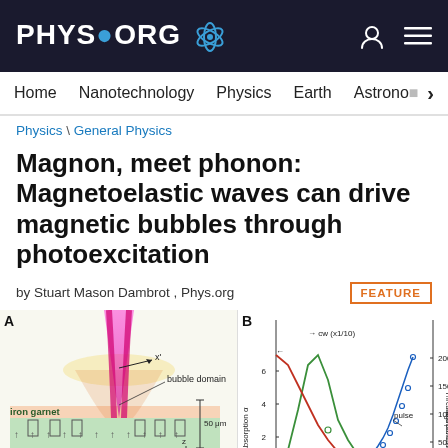PHYS.ORG
Home  Nanotechnology  Physics  Earth  Astronomy
Physics \ General Physics
Magnon, meet phonon: Magnetoelastic waves can drive magnetic bubbles through photoexcitation
by Stuart Mason Dambrot , Phys.org
[Figure (illustration): Panel A: Schematic illustration showing a laser beam focused on a bubble domain in an iron garnet film on a substrate. Labels include 'bubble domain', 'iron garnet', 'substrate', axis labels x', y, z, x, and a scale bar of 50 μm.]
[Figure (line-chart): Graph with two y-axes: left axis 'Absorption α' (0-6) and right axis 'Threshold power to drive magnetic bubbles (μW)' (0-200). Shows curves for 'cw (x1/10)' and 'pulse', with a red arrow marker.]